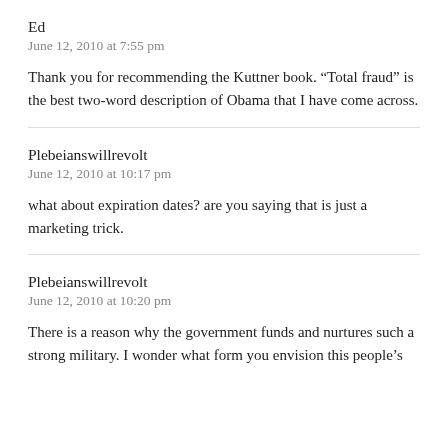Ed
June 12, 2010 at 7:55 pm
Thank you for recommending the Kuttner book. “Total fraud” is the best two-word description of Obama that I have come across.
Plebeianswillrevolt
June 12, 2010 at 10:17 pm
what about expiration dates? are you saying that is just a marketing trick.
Plebeianswillrevolt
June 12, 2010 at 10:20 pm
There is a reason why the government funds and nurtures such a strong military. I wonder what form you envision this people’s